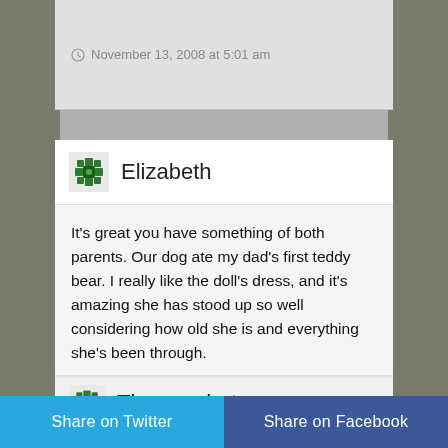November 13, 2008 at 5:01 am
Elizabeth
It's great you have something of both parents. Our dog ate my dad's first teddy bear. I really like the doll's dress, and it's amazing she has stood up so well considering how old she is and everything she's been through.
November 13, 2008 at 4:00 am
Threeundertwo
Share on Twitter
Share on Facebook